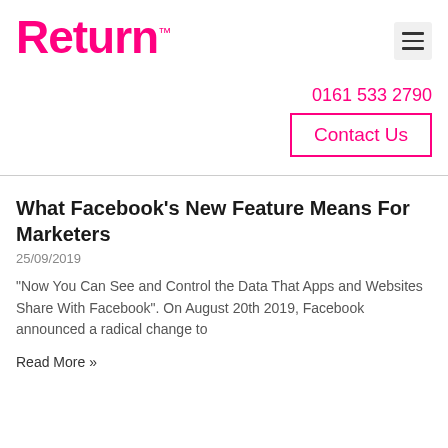Return™
0161 533 2790
Contact Us
What Facebook's New Feature Means For Marketers
25/09/2019
"Now You Can See and Control the Data That Apps and Websites Share With Facebook". On August 20th 2019, Facebook announced a radical change to
Read More »